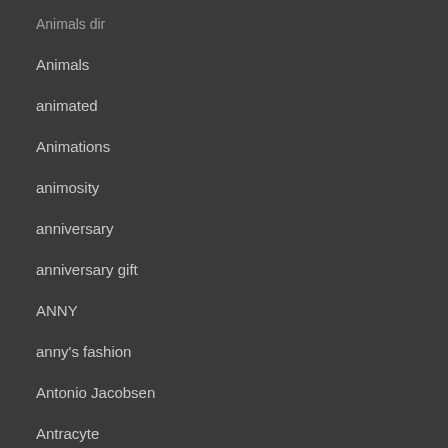Animals dir
Animals
animated
Animations
animosity
anniversary
anniversary gift
ANNY
anny's fashion
Antonio Jacobsen
Antracyte
anxiety
Anypose
AO